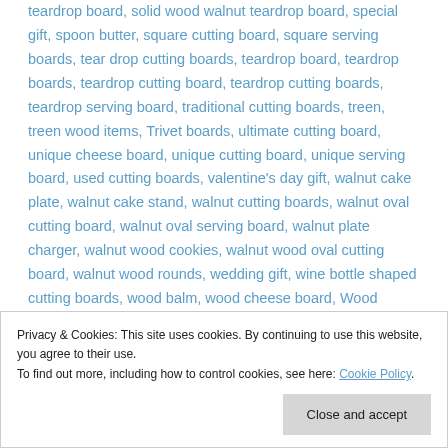teardrop board, solid wood walnut teardrop board, special gift, spoon butter, square cutting board, square serving boards, tear drop cutting boards, teardrop board, teardrop boards, teardrop cutting board, teardrop cutting boards, teardrop serving board, traditional cutting boards, treen, treen wood items, Trivet boards, ultimate cutting board, unique cheese board, unique cutting board, unique serving board, used cutting boards, valentine's day gift, walnut cake plate, walnut cake stand, walnut cutting boards, walnut oval cutting board, walnut oval serving board, walnut plate charger, walnut wood cookies, walnut wood oval cutting board, walnut wood rounds, wedding gift, wine bottle shaped cutting boards, wood balm, wood cheese board, Wood conditioner, Wood cutting board, wood end grain cutting board, Wood grain, wood lathe turned ice cream paddle handle scoops, Wooden
Privacy & Cookies: This site uses cookies. By continuing to use this website, you agree to their use. To find out more, including how to control cookies, see here: Cookie Policy